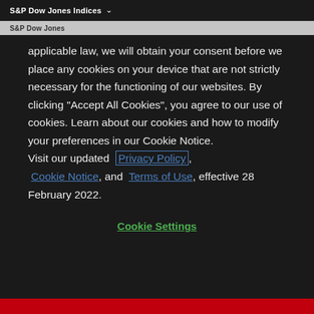S&P Dow Jones Indices ▾
S&P Dow Jones
applicable law, we will obtain your consent before we place any cookies on your device that are not strictly necessary for the functioning of our websites. By clicking "Accept All Cookies", you agree to our use of cookies. Learn about our cookies and how to modify your preferences in our Cookie Notice. Visit our updated Privacy Policy, Cookie Notice, and Terms of Use, effective 28 February 2022.
Cookie Settings
[Figure (other): Red bar at the bottom of the page]